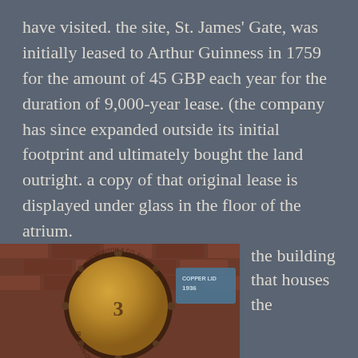have visited. the site, St. James' Gate, was initially leased to Arthur Guinness in 1759 for the amount of 45 GBP each year for the duration of 9,000-year lease. (the company has since expanded outside its initial footprint and ultimately bought the land outright. a copy of that original lease is displayed under glass in the floor of the atrium.
[Figure (photo): Close-up photograph of a large brass/copper circular dome or vessel component labeled 'Robert Morton & Co. Engineers & Coppersmiths, Burton-on-Trent, No. 3', mounted on a brick wall. A plaque reading 'Copper Lid 1936' is visible to the right.]
the building that houses the